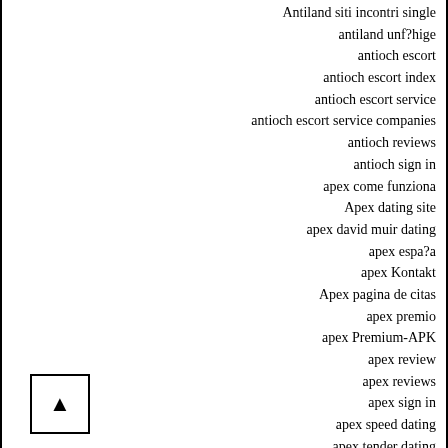Antiland siti incontri single
antiland unf?hige
antioch escort
antioch escort index
antioch escort service
antioch escort service companies
antioch reviews
antioch sign in
apex come funziona
Apex dating site
apex david muir dating
apex espa?a
apex Kontakt
Apex pagina de citas
apex premio
apex Premium-APK
apex review
apex reviews
apex sign in
apex speed dating
apex tender dating
apex the dating game
Apex unf?hige
apex visitors
apex who is megan fox dating
apex-inceleme gözden geçirmek
apex-inceleme visitors